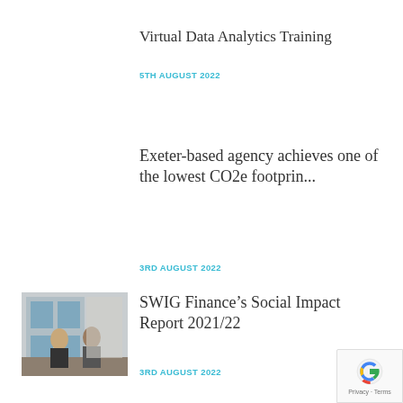Virtual Data Analytics Training
5TH AUGUST 2022
Exeter-based agency achieves one of the lowest CO2e footprin...
3RD AUGUST 2022
[Figure (photo): Two women sitting and talking near a window in an office building]
SWIG Finance’s Social Impact Report 2021/22
3RD AUGUST 2022